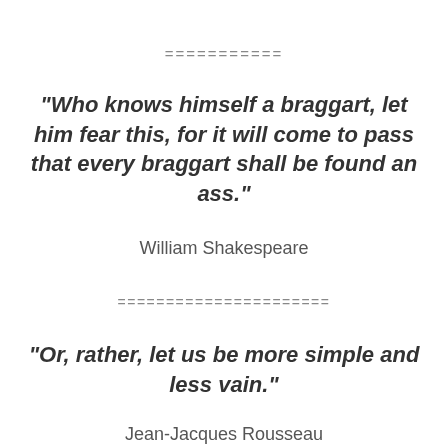===========
“Who knows himself a braggart, let him fear this, for it will come to pass that every braggart shall be found an ass.”
William Shakespeare
======================
“Or, rather, let us be more simple and less vain.”
Jean-Jacques Rousseau